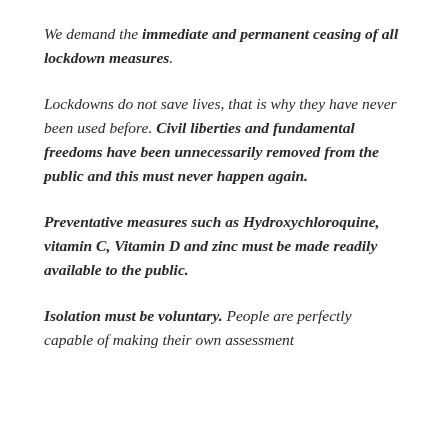We demand the immediate and permanent ceasing of all lockdown measures.
Lockdowns do not save lives, that is why they have never been used before. Civil liberties and fundamental freedoms have been unnecessarily removed from the public and this must never happen again.
Preventative measures such as Hydroxychloroquine, vitamin C, Vitamin D and zinc must be made readily available to the public.
Isolation must be voluntary. People are perfectly capable of making their own assessment